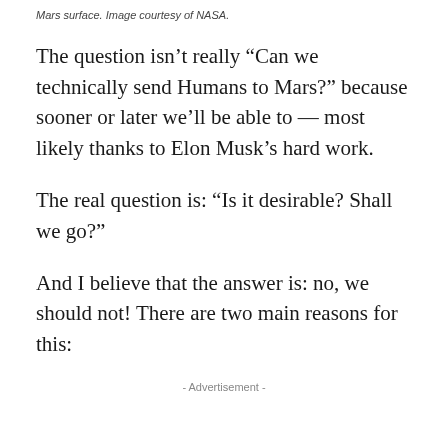Mars surface. Image courtesy of NASA.
The question isn't really “Can we technically send Humans to Mars?” because sooner or later we’ll be able to — most likely thanks to Elon Musk’s hard work.
The real question is: “Is it desirable? Shall we go?”
And I believe that the answer is: no, we should not! There are two main reasons for this:
- Advertisement -